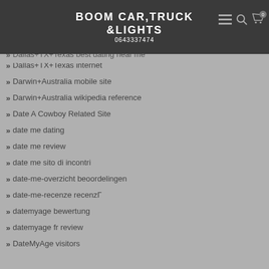BOOM CAR,TRUCK &LIGHTS
0643337474
dallas USA login
Dallas+TX+Texas best hookup apps auto-site
Dallas+TX+Texas+best dating near me
Dallas+TX+Texas internet
Darwin+Australia mobile site
Darwin+Australia wikipedia reference
Date A Cowboy Related Site
date me dating
date me review
date me sito di incontri
date-me-overzicht beoordelingen
date-me-recenze recenzГ
datemyage bewertung
datemyage fr review
DateMyAge visitors